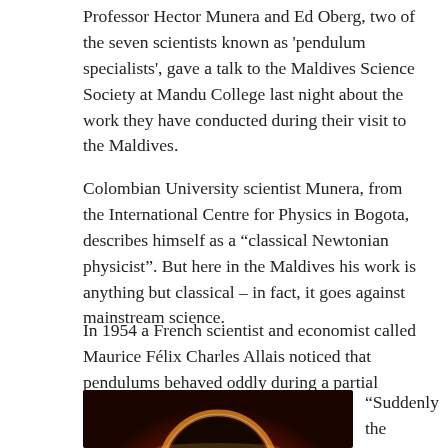Professor Hector Munera and Ed Oberg, two of the seven scientists known as 'pendulum specialists', gave a talk to the Maldives Science Society at Mandu College last night about the work they have conducted during their visit to the Maldives.
Colombian University scientist Munera, from the International Centre for Physics in Bogota, describes himself as a “classical Newtonian physicist”. But here in the Maldives his work is anything but classical – in fact, it goes against mainstream science.
In 1954 a French scientist and economist called Maurice Félix Charles Allais noticed that pendulums behaved oddly during a partial eclipse.
[Figure (photo): Photo of a solar eclipse showing a bright ring of orange-red light around a dark circular center, against a dark background.]
“Suddenly the pendulum jumped to